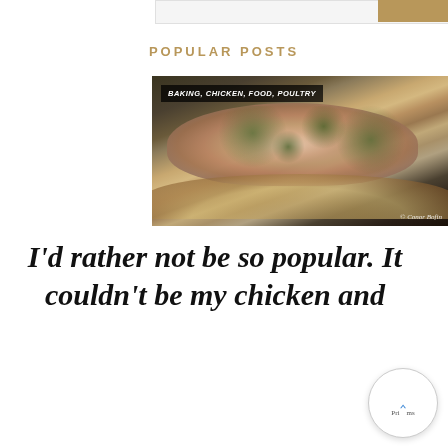POPULAR POSTS
[Figure (photo): A raw chicken pie filling in a dark baking pan with a pastry crust, topped with chopped herbs. Watermark: © Conor Bofin. Overlay label: BAKING, CHICKEN, FOOD, POULTRY]
I'd rather not be so popular. It couldn't be my chicken and